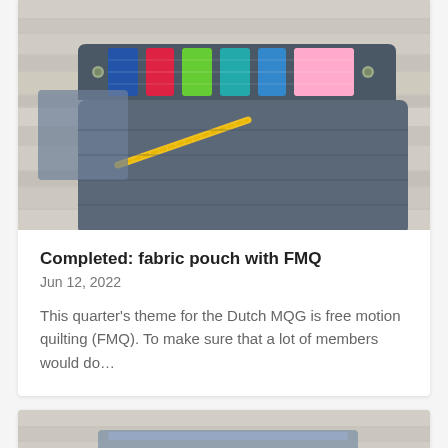[Figure (photo): A fabric pouch/wallet with colorful quilted strips (blue, red, green, teal, pink) on a flap, with a yellow zipper, lying on a weathered white wood surface.]
Completed: fabric pouch with FMQ
Jun 12, 2022
This quarter’s theme for the Dutch MQG is free motion quilting (FMQ). To make sure that a lot of members would do…
[Figure (photo): Partial view of another fabric item on a weathered white wood surface, partially cut off at bottom of page.]